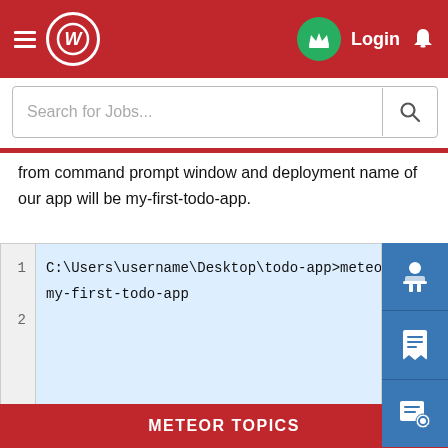[Figure (screenshot): Red app header bar with hamburger menu, circular logo with W, green crown button, Login text, and bell icon]
[Figure (screenshot): Search bar with placeholder 'Search for Jobs...' and search icon button]
from command prompt window and deployment name of our app will be my-first-todo-app.
[Figure (screenshot): Code block with line numbers. Line 1: C:\Users\username\Desktop\todo-app>meteor deploy my-first-todo-app. Line 2 is empty.]
[Figure (screenshot): Blue sidebar with three icon buttons: person at desk, printer/document, and job search icons]
We can open the http://my-first-todo-app.meteor.com/ to start using our app.
METEOR TOPICS